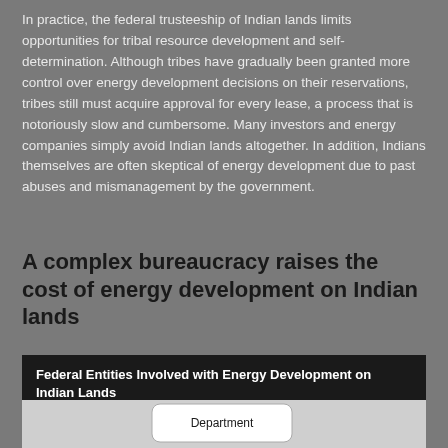In practice, the federal trusteeship of Indian lands limits opportunities for tribal resource development and self-determination. Although tribes have gradually been granted more control over energy development decisions on their reservations, tribes still must acquire approval for every lease, a process that is notoriously slow and cumbersome. Many investors and energy companies simply avoid Indian lands altogether. In addition, Indians themselves are often skeptical of energy development due to past abuses and mismanagement by the government.
A complex bureaucracy raises the cost of energy development on Indian lands
Federal Entities Involved with Energy Development on Indian Lands
[Figure (flowchart): Organizational flowchart showing Federal Entities Involved with Energy Development on Indian Lands, with a Department box visible at the top of the diagram.]